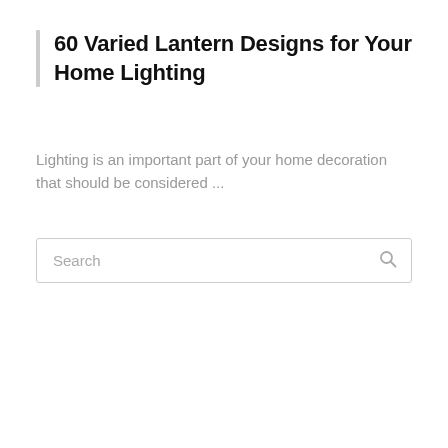60 Varied Lantern Designs for Your Home Lighting
Lighting is an important part of your home decoration that should be considered ...